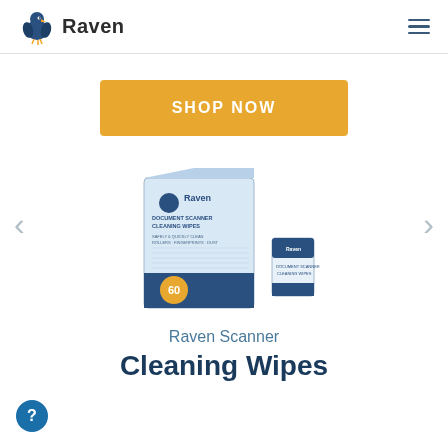Raven
SHOP NOW
[Figure (photo): Raven Document Scanner Cleaning Wipes product box (60 wipes) with a single wipe packet beside it, on a white background]
Raven Scanner
Cleaning Wipes